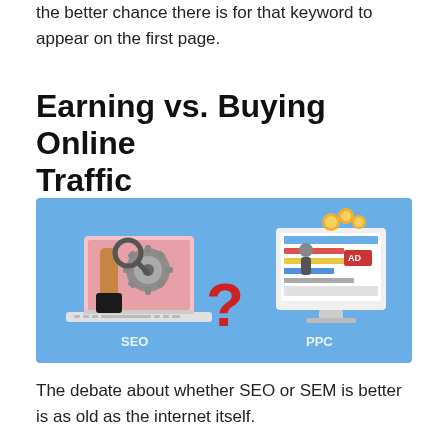the better chance there is for that keyword to appear on the first page.
Earning vs. Buying Online Traffic
[Figure (illustration): Illustration showing SEO vs PPC concept: a laptop with a hand holding gears and a magnifying glass on the left labeled SEO, a red question mark in the center, and a desktop monitor with coins and ad banners on the right labeled PPC, all on a blue background.]
The debate about whether SEO or SEM is better is as old as the internet itself.